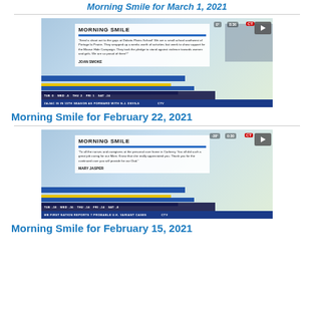Morning Smile for March 1, 2021
[Figure (screenshot): CTV Morning Smile video thumbnail for February 22, 2021, showing MORNING SMILE segment with text from Joan Smoke about Dakota Plains School supporting the Moose Hide Campaign]
Morning Smile for February 22, 2021
[Figure (screenshot): CTV Morning Smile video thumbnail for February 15, 2021, showing MORNING SMILE segment with text from Mary Jasper about nurses and caregivers at personal care home in Carberry]
Morning Smile for February 15, 2021